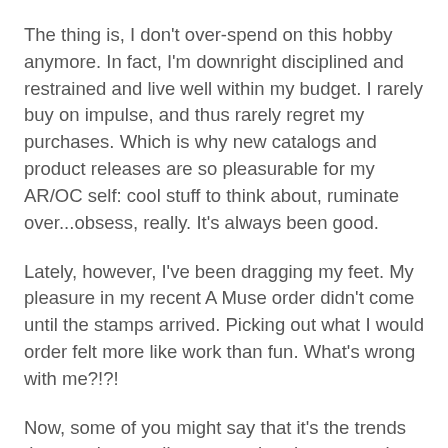The thing is, I don't over-spend on this hobby anymore. In fact, I'm downright disciplined and restrained and live well within my budget. I rarely buy on impulse, and thus rarely regret my purchases. Which is why new catalogs and product releases are so pleasurable for my AR/OC self: cool stuff to think about, ruminate over...obsess, really. It's always been good.
Lately, however, I've been dragging my feet. My pleasure in my recent A Muse order didn't come until the stamps arrived. Picking out what I would order felt more like work than fun. What's wrong with me?!?!
Now, some of you might say that it's the trends that aren't appealing to me, that the companies are re-hashing old ideas, that I don't need to buy stuff--I just need to use what I have more creatively.
But I feel like I've done that already. After I finished my excellent resolution to use every single image stamp I own (two years that took!), I felt a bit lost. What would my next big